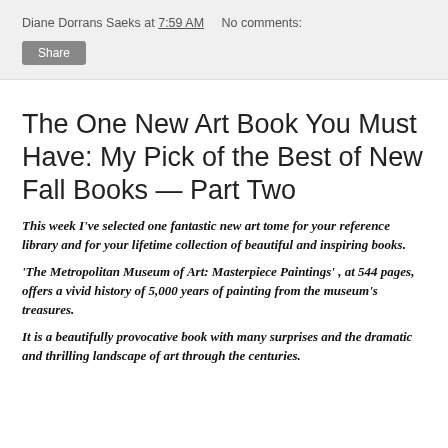Diane Dorrans Saeks at 7:59 AM   No comments:
The One New Art Book You Must Have: My Pick of the Best of New Fall Books — Part Two
This week I've selected one fantastic new art tome for your reference library and for your lifetime collection of beautiful and inspiring books.
'The Metropolitan Museum of Art: Masterpiece Paintings' , at 544 pages, offers a vivid history of 5,000 years of painting from the museum's treasures.
It is a beautifully provocative book with many surprises and the dramatic and thrilling landscape of art through the centuries.